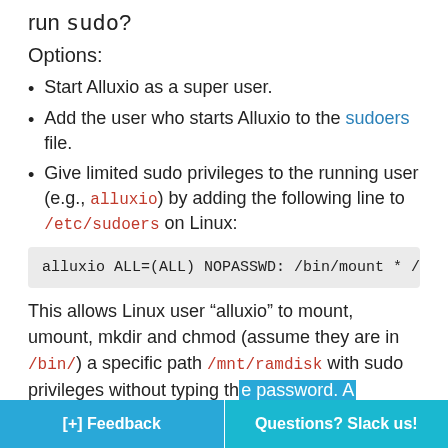run sudo?
Options:
Start Alluxio as a super user.
Add the user who starts Alluxio to the sudoers file.
Give limited sudo privileges to the running user (e.g., alluxio) by adding the following line to /etc/sudoers on Linux:
alluxio ALL=(ALL) NOPASSWD: /bin/mount * /m
This allows Linux user “alluxio” to mount, umount, mkdir and chmod (assume they are in /bin/) a specific path /mnt/ramdisk with sudo privileges without typing th… more detailed e…